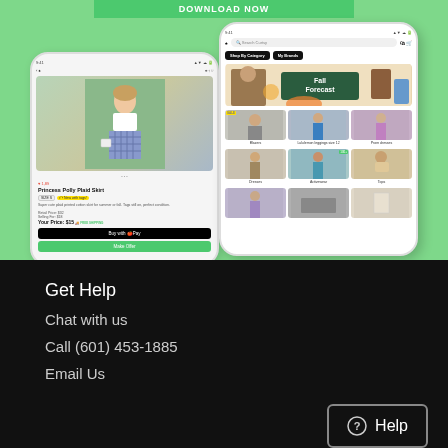[Figure (screenshot): Two smartphone mockups showing the Curtsy resale app interface. Left phone shows a product listing for Princess Polly Plaid Skirt priced at $15. Right phone shows the app home screen with search bar, Shop By Category and My Brands buttons, Fall Forecast banner, and grid of clothing categories including Blazers, Lululemon leggings size 12, Prom dresses, Dresses, Activewear, and Tops.]
Get Help
Chat with us
Call (601) 453-1885
Email Us
[Figure (other): Help button with question mark icon and border]